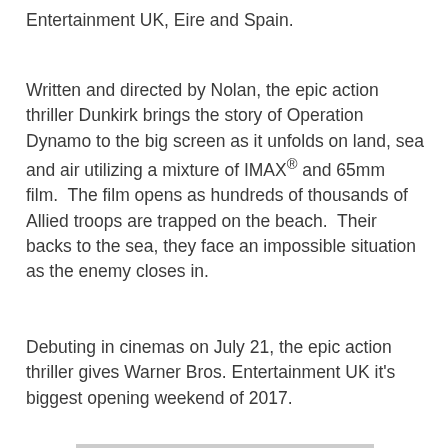Entertainment UK, Eire and Spain.
Written and directed by Nolan, the epic action thriller Dunkirk brings the story of Operation Dynamo to the big screen as it unfolds on land, sea and air utilizing a mixture of IMAX® and 65mm film.  The film opens as hundreds of thousands of Allied troops are trapped on the beach.  Their backs to the sea, they face an impossible situation as the enemy closes in.
Debuting in cinemas on July 21, the epic action thriller gives Warner Bros. Entertainment UK it's biggest opening weekend of 2017.
[Figure (photo): Two men standing outdoors against a grey sky. The man on the left wears a dark jacket and appears to be speaking or gesturing, with a headset around his neck. The man on the right wears a naval officer's uniform with a cap bearing military insignia. A third partially visible person is at the far right edge of the image.]